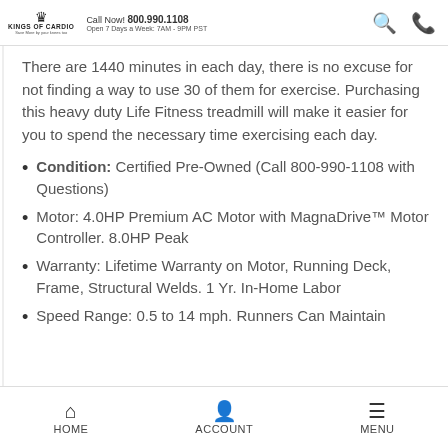Kings of Cardio | Call Now! 800.990.1108 | Open 7 Days a Week: 7AM - 9PM PST
There are 1440 minutes in each day, there is no excuse for not finding a way to use 30 of them for exercise. Purchasing this heavy duty Life Fitness treadmill will make it easier for you to spend the necessary time exercising each day.
Condition: Certified Pre-Owned (Call 800-990-1108 with Questions)
Motor: 4.0HP Premium AC Motor with MagnaDrive™ Motor Controller. 8.0HP Peak
Warranty: Lifetime Warranty on Motor, Running Deck, Frame, Structural Welds. 1 Yr. In-Home Labor
Speed Range: 0.5 to 14 mph. Runners Can Maintain
HOME | ACCOUNT | MENU